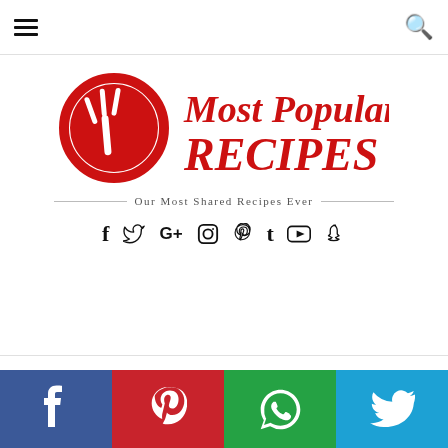Navigation bar with hamburger menu and search icon
[Figure (logo): Most Popular Recipes logo: red circular fork icon on left, red cursive text 'Most Popular RECIPES' on right]
Our Most Shared Recipes Ever
Social media icons: Facebook, Twitter, Google+, Instagram, Pinterest, Tumblr, YouTube, Snapchat
[Figure (infographic): Bottom social sharing bar with four colored buttons: Facebook (blue), Pinterest (red), WhatsApp (green), Twitter (light blue)]